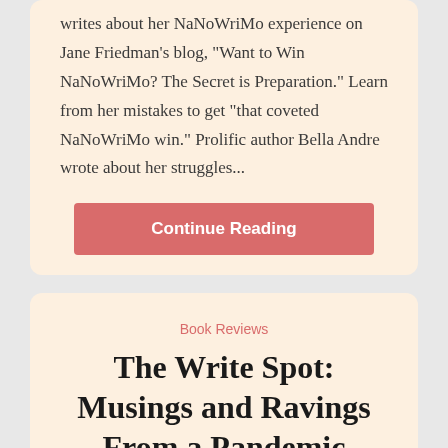writes about her NaNoWriMo experience on Jane Friedman's blog, "Want to Win NaNoWriMo? The Secret is Preparation." Learn from her mistakes to get "that coveted NaNoWriMo win." Prolific author Bella Andre wrote about her struggles...
Continue Reading
Book Reviews
The Write Spot: Musings and Ravings From a Pandemic Year
July 11, 2021  |  mcullen  |  1 Comment